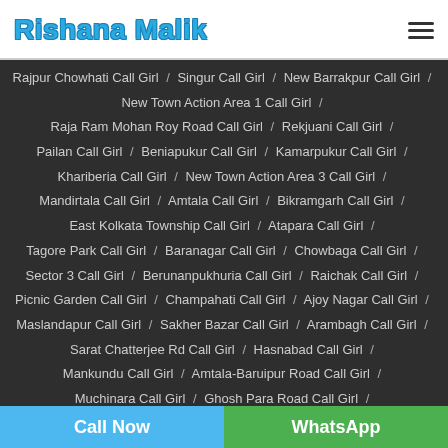Rishana Malik
Rajpur Chowhati Call Girl / Singur Call Girl / New Barrakpur Call Girl / New Town Action Area 1 Call Girl / Raja Ram Mohan Roy Road Call Girl / Rekjuani Call Girl / Pailan Call Girl / Beniapukur Call Girl / Kamarpukur Call Girl / Khariberia Call Girl / New Town Action Area 3 Call Girl / Mandirtala Call Girl / Amtala Call Girl / Bikramgarh Call Girl / East Kolkata Township Call Girl / Atapara Call Girl / Tagore Park Call Girl / Baranagar Call Girl / Chowbaga Call Girl / Sector 3 Call Girl / Berunanpukhuria Call Girl / Raichak Call Girl / Picnic Garden Call Girl / Champahati Call Girl / Ajoy Nagar Call Girl / Maslandapur Call Girl / Sakher Bazar Call Girl / Arambagh Call Girl / Sarat Chatterjee Rd Call Girl / Hasnabad Call Girl / Mankundu Call Girl / Amtala-Baruipur Road Call Girl / Muchinara Call Girl / Ghosh Para Road Call Girl /
Call Now | WhatsApp